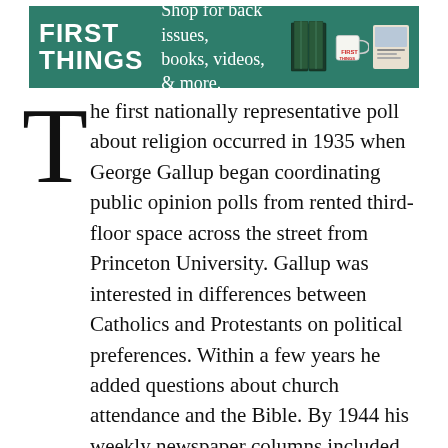[Figure (other): First Things advertisement banner: green background with 'FIRST THINGS' logo in white bold text, 'Shop for back issues, books, videos, & more.' text, and images of books and a mug on the right.]
The first nationally representative poll about religion occurred in 1935 when George Gallup began coordinating public opinion polls from rented third-floor space across the street from Princeton University. Gallup was interested in differences between Catholics and Protestants on political preferences. Within a few years he added questions about church attendance and the Bible. By 1944 his weekly newspaper columns included updates about how many Americans believed in God (most did) and the proportion of all Americans who had attended worship services in the past week (about 40 percent).
Gallup did his best to persuade the public that polls